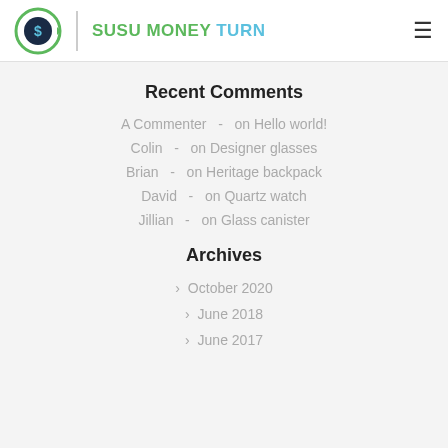SUSU MONEY TURN
Recent Comments
A Commenter  -  on Hello world!
Colin  -  on Designer glasses
Brian  -  on Heritage backpack
David  -  on Quartz watch
Jillian  -  on Glass canister
Archives
> October 2020
> June 2018
> June 2017